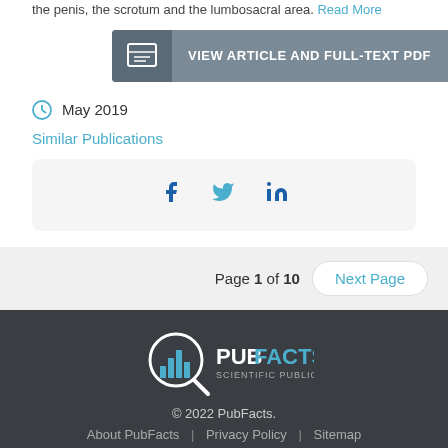the penis, the scrotum and the lumbosacral area. Read More
[Figure (other): VIEW ARTICLE AND FULL-TEXT PDF button with book icon]
May 2019
Similar Publications
[Figure (other): Social share icons: Facebook, Twitter, LinkedIn]
Page 1 of 10  Next Page
[Figure (logo): PubFacts Scientific Publication Data logo]
© 2022 PubFacts.
About PubFacts | Privacy Policy | Sitemap